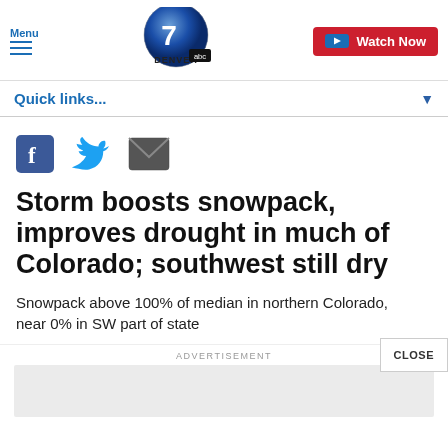Menu | Denver 7 ABC | Watch Now
Quick links...
[Figure (logo): Social share icons: Facebook, Twitter, Email]
Storm boosts snowpack, improves drought in much of Colorado; southwest still dry
Snowpack above 100% of median in northern Colorado, near 0% in SW part of state
ADVERTISEMENT
CLOSE